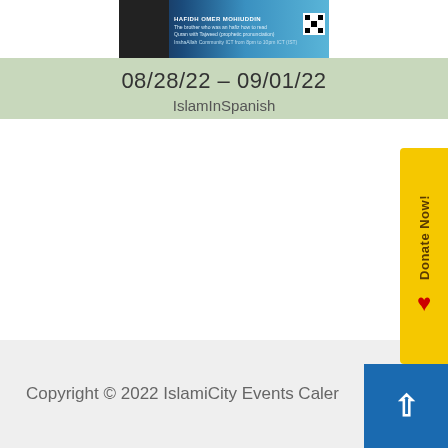[Figure (photo): Event banner image for IslamInSpanish featuring a person and blue background with text 'HAFIDH OMER MOHIUDDIN' and description text]
08/28/22 – 09/01/22
IslamInSpanish
[Figure (other): Donate Now button (yellow, vertical text) with heart icon on the right side of the page]
[Figure (other): Blue scroll-to-top button with upward arrow in bottom right corner]
Copyright © 2022 IslamiCity Events Caler